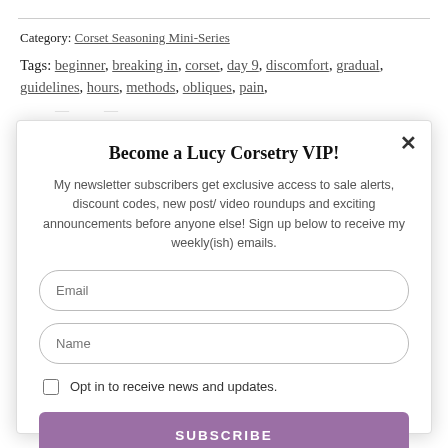Category: Corset Seasoning Mini-Series
Tags: beginner, breaking in, corset, day 9, discomfort, gradual, guidelines, hours, methods, obliques, pain,
Become a Lucy Corsetry VIP!
My newsletter subscribers get exclusive access to sale alerts, discount codes, new post/ video roundups and exciting announcements before anyone else! Sign up below to receive my weekly(ish) emails.
Email
Name
Opt in to receive news and updates.
SUBSCRIBE